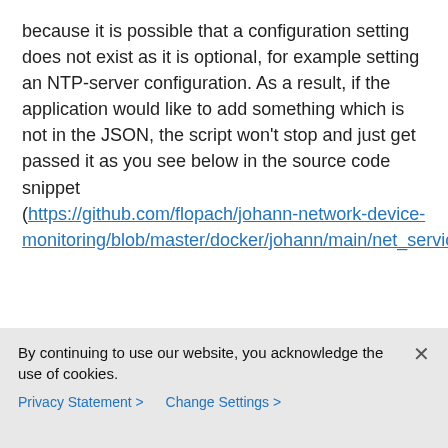because it is possible that a configuration setting does not exist as it is optional, for example setting an NTP-server configuration. As a result, if the application would like to add something which is not in the JSON, the script won't stop and just get passed it as you see below in the source code snippet (https://github.com/flopach/johann-network-device-monitoring/blob/master/docker/johann/main/net_services/restconf_queries.py)
try:
    ntp_server_list = []
By continuing to use our website, you acknowledge the use of cookies.
Privacy Statement >   Change Settings >